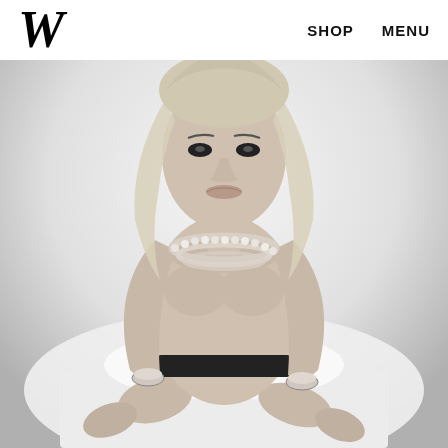[Figure (photo): Black and white fashion magazine photo: a blonde female model seated on a white bed, topless, wearing a multi-strand pearl necklace and jeweled bracelets, with a dark waistband/skirt. High-key studio lighting. W Magazine editorial style.]
W   SHOP   MENU